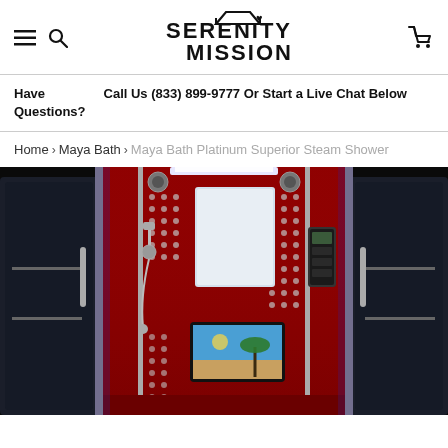Serenity Mission — navigation header with menu, search, logo, and cart icons
Have Questions? Call Us (833) 899-9777 Or Start a Live Chat Below
Home > Maya Bath > Maya Bath Platinum Superior Steam Shower
[Figure (photo): Interior view of a Maya Bath Platinum Superior Steam Shower with red panels, multiple shower heads, a built-in TV screen showing a beach scene, glass doors, and ceiling light.]